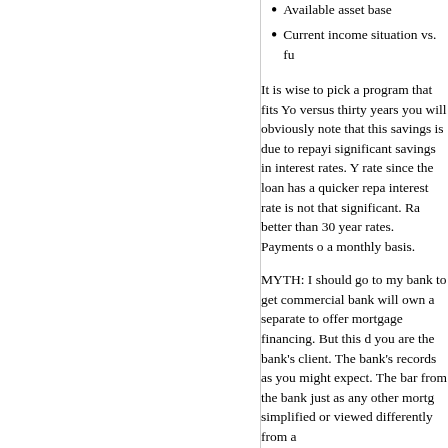Available asset base
Current income situation vs. fu
It is wise to pick a program that fits Yo versus thirty years you will obviously note that this savings is due to repayi significant savings in interest rates. Y rate since the loan has a quicker repa interest rate is not that significant. Ra better than 30 year rates. Payments o a monthly basis.
MYTH: I should go to my bank to get commercial bank will own a separate to offer mortgage financing. But this d you are the bank's client. The bank's records as you might expect. The bar from the bank just as any other mortg simplified or viewed differently from a
The perception of most people who g payments will always be made to thei under one roof. However, most mortg and may sell the loan servicing just as
Another important consideration is tha number of mortgage products. You m officer may not have a good compreh they can adequately advise you as to the property you are buying, may nee